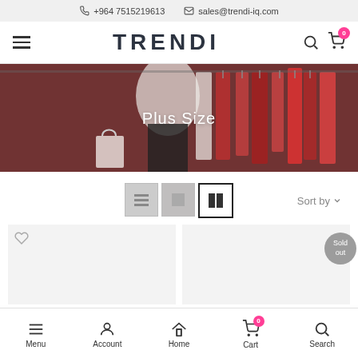+964 7515219613  sales@trendi-iq.com
TRENDI
[Figure (screenshot): Hero banner showing clothing rack with red and white dresses with text 'Plus Size']
Plus Size
Sort by
[Figure (other): Product card with empty image placeholder and a Sold out badge]
Menu  Account  Home  Cart  Search